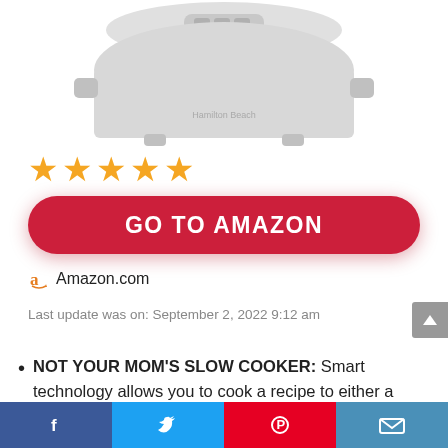[Figure (photo): Top portion of a Hamilton Beach slow cooker product image on white background]
[Figure (infographic): Five orange/gold star rating]
GO TO AMAZON
Amazon.com
Last update was on: September 2, 2022 9:12 am
NOT YOUR MOM'S SLOW COOKER: Smart technology allows you to cook a recipe to either a desired cooking time or specific temperature, before automatically switching to Warm when it's